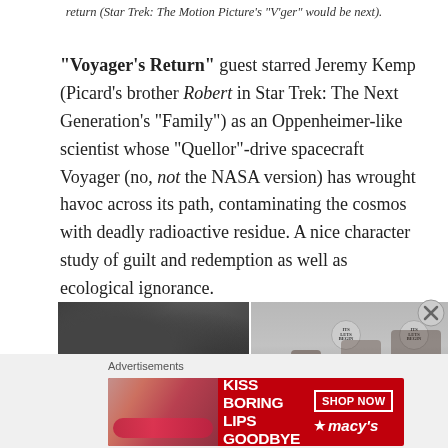return (Star Trek: The Motion Picture's "V'ger" would be next).
"Voyager's Return" guest starred Jeremy Kemp (Picard's brother Robert in Star Trek: The Next Generation's "Family") as an Oppenheimer-like scientist whose "Quellor"-drive spacecraft Voyager (no, not the NASA version) has wrought havoc across its path, contaminating the cosmos with deadly radioactive residue. A nice character study of guilt and redemption as well as ecological ignorance.
[Figure (photo): Two side-by-side photos: left shows a dark rocky/stone surface texture; right shows people in a room with circular badge/sign visible.]
Advertisements
[Figure (photo): Macy's advertisement banner with red background showing 'KISS BORING LIPS GOODBYE' text and a SHOP NOW button with Macy's star logo. Image of lips/face visible.]